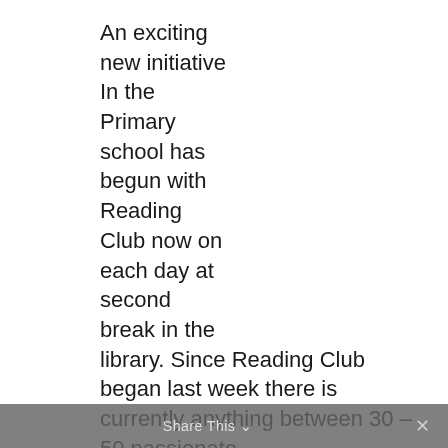An exciting new initiative In the Primary school has begun with Reading Club now on each day at second break in the library. Since Reading Club began last week there is currently anything between 30 – 50 passionate readers visiting the library each day and it is a wonderful time of quiet reading. A number of teachers and I run these sessions and we read with different
Share This ✕